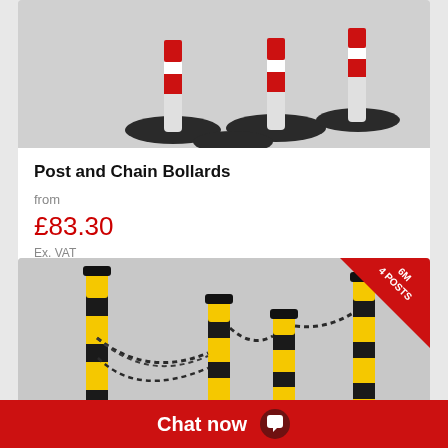[Figure (photo): Photo of red and white bollards with black circular bases on grey background]
Post and Chain Bollards
from
£83.30
Ex. VAT
[Figure (photo): Photo of black and yellow striped bollards connected with chains, with '6M 4 POSTS' badge in top-right corner]
Chat now